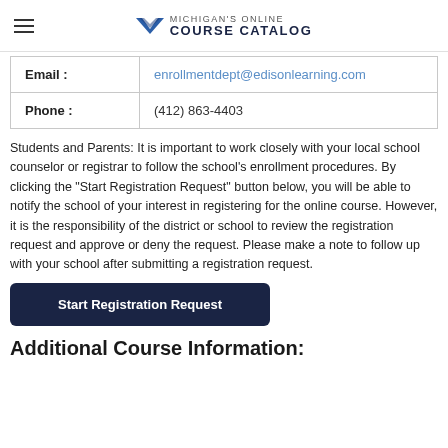Michigan's Online Course Catalog
| Email : | enrollmentdept@edisonlearning.com |
| Phone : | (412) 863-4403 |
Students and Parents: It is important to work closely with your local school counselor or registrar to follow the school's enrollment procedures. By clicking the "Start Registration Request" button below, you will be able to notify the school of your interest in registering for the online course. However, it is the responsibility of the district or school to review the registration request and approve or deny the request. Please make a note to follow up with your school after submitting a registration request.
Start Registration Request
Additional Course Information: